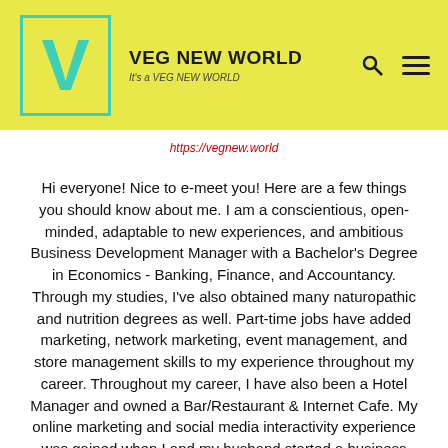VEG NEW WORLD — It's a VEG NEW WORLD
https://vegnew.world
Hi everyone! Nice to e-meet you! Here are a few things you should know about me. I am a conscientious, open-minded, adaptable to new experiences, and ambitious Business Development Manager with a Bachelor's Degree in Economics - Banking, Finance, and Accountancy. Through my studies, I've also obtained many naturopathic and nutrition degrees as well. Part-time jobs have added marketing, network marketing, event management, and store management skills to my experience throughout my career. Throughout my career, I have also been a Hotel Manager and owned a Bar/Restaurant & Internet Cafe. My online marketing and social media interactivity experience was gained when I and my husband started a business with an online/organic webshop & healthy lifestyle consultancy. I've